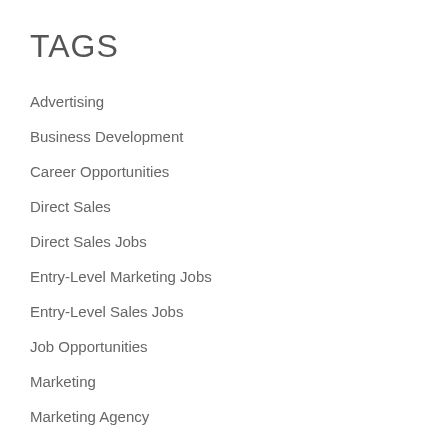TAGS
Advertising
Business Development
Career Opportunities
Direct Sales
Direct Sales Jobs
Entry-Level Marketing Jobs
Entry-Level Sales Jobs
Job Opportunities
Marketing
Marketing Agency
Marketing Jobs
Recruitment Opportunities